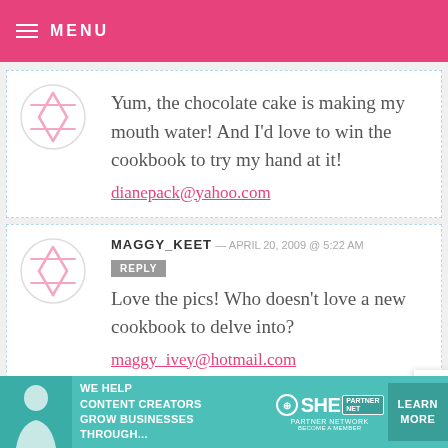MENU
Yum, the chocolate cake is making my mouth water! And I'd love to win the cookbook to try my hand at it! dianepack@yahoo.com
MAGGY_KEET — APRIL 20, 2009 @ 5:22 AM
Love the pics! Who doesn't love a new cookbook to delve into? maggy_ivey@hotmail.com
[Figure (infographic): SHE Partner Network advertisement banner: We help content creators grow businesses through... Learn More]